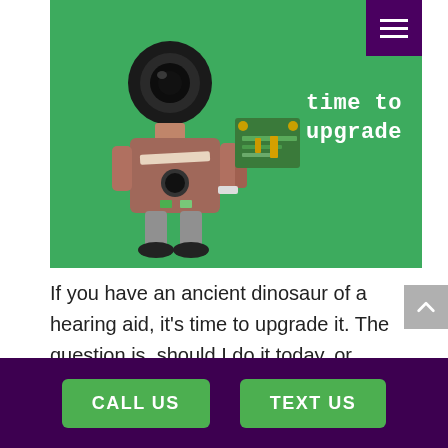[Figure (photo): A toy robot made of electronic components holding a green circuit board, on a green background. White text overlay reads 'time to upgrade'. Purple hamburger menu icon in top-right corner.]
If you have an ancient dinosaur of a hearing aid, it's time to upgrade it. The question is, should I do it today, or should I wait? Your
CALL US   TEXT US